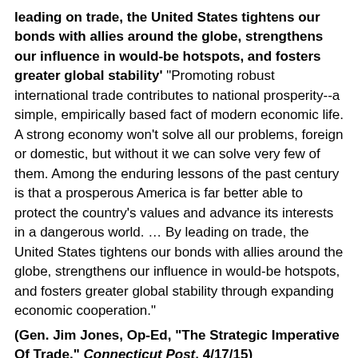leading on trade, the United States tightens our bonds with allies around the globe, strengthens our influence in would-be hotspots, and fosters greater global stability' "Promoting robust international trade contributes to national prosperity--a simple, empirically based fact of modern economic life. A strong economy won't solve all our problems, foreign or domestic, but without it we can solve very few of them. Among the enduring lessons of the past century is that a prosperous America is far better able to protect the country's values and advance its interests in a dangerous world. … By leading on trade, the United States tightens our bonds with allies around the globe, strengthens our influence in would-be hotspots, and fosters greater global stability through expanding economic cooperation."
(Gen. Jim Jones, Op-Ed, "The Strategic Imperative Of Trade," Connecticut Post, 4/17/15)
JONES: 'approval of the Trans-Pacific Partnership (TPP)… essential… a vital geostrategic counterweight to China' "In Asia, approval of the Trans-Pacific Partnership (TPP) will help stabilize a region in flux. An ambitious and comprehensive trade